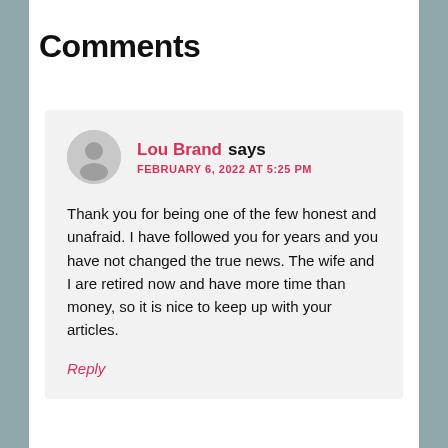Comments
Lou Brand says
FEBRUARY 6, 2022 AT 5:25 PM

Thank you for being one of the few honest and unafraid. I have followed you for years and you have not changed the true news. The wife and I are retired now and have more time than money, so it is nice to keep up with your articles.

Reply